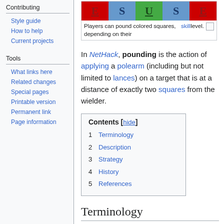Contributing
Style guide
How to help
Current projects
Tools
What links here
Related changes
Special pages
Printable version
Permanent link
Page information
[Figure (illustration): Five colored squares labeled E, S, U, S, E representing pounding target squares in NetHack]
Players can pound colored squares, depending on their skill level.
In NetHack, pounding is the action of applying a polearm (including but not limited to lances) on a target that is at a distance of exactly two squares from the wielder.
| Contents [hide] |
| --- |
| 1 Terminology |
| 2 Description |
| 3 Strategy |
| 4 History |
| 5 References |
Terminology